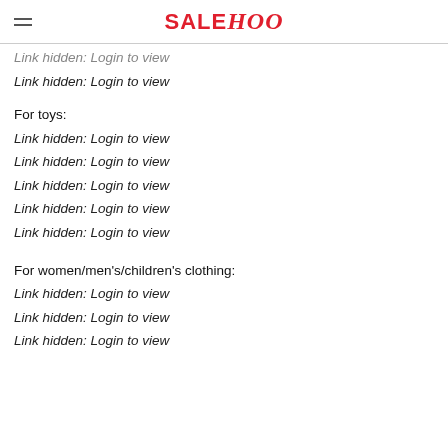SALEHOO
Link hidden: Login to view
Link hidden: Login to view
For toys:
Link hidden: Login to view
Link hidden: Login to view
Link hidden: Login to view
Link hidden: Login to view
Link hidden: Login to view
For women/men's/children's clothing:
Link hidden: Login to view
Link hidden: Login to view
Link hidden: Login to view